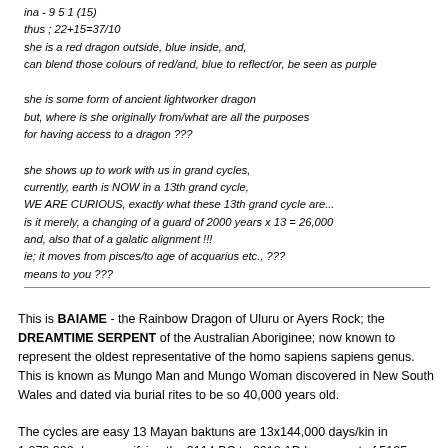ina - 9 5 1 (15)
thus ; 22+15=37/10
she is a red dragon outside, blue inside, and,
can blend those colours of red/and, blue to reflect/or, be seen as purple

she is some form of ancient lightworker dragon
but, where is she originally from/what are all the purposes for having access to a dragon ???

she shows up to work with us in grand cycles,
currently, earth is NOW in a 13th grand cycle,
WE ARE CURIOUS, exactly what these 13th grand cycle are...
is it merely, a changing of a guard of 2000 years x 13 = 26,000
and, also that of a galatic alignment !!!
ie; it moves from pisces/to age of acquarius etc., ???
means to you ???
This is BAIAME - the Rainbow Dragon of Uluru or Ayers Rock; the DREAMTIME SERPENT of the Australian Aboriginee; now known to represent the oldest representative of the homo sapiens sapiens genus.
This is known as Mungo Man and Mungo Woman discovered in New South Wales and dated via burial rites to be so 40,000 years old.

The cycles are easy 13 Mayan baktuns are 13x144,000 days/kin in 1,872,000 days specifying the 3114 BC to 2012 AD long count of 5125